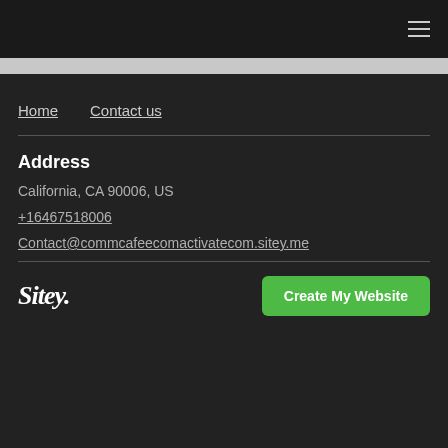≡ (hamburger menu icon)
Home    Contact us
Address
California, CA 90006, US
+16467518006
Contact@commcafeecomactivatecom.sitey.me
Sitey.   Create My Website